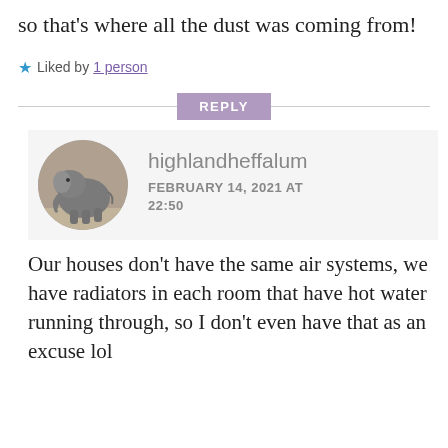so that's where all the dust was coming from!
Liked by 1 person
REPLY
[Figure (photo): Circular avatar image of a baby elephant standing on dirt ground]
highlandheffalum
FEBRUARY 14, 2021 AT 22:50
Our houses don't have the same air systems, we have radiators in each room that have hot water running through, so I don't even have that as an excuse lol